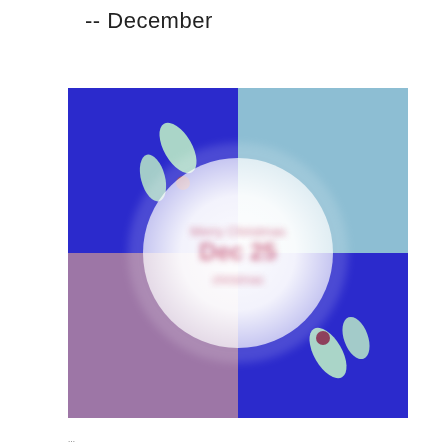-- December
[Figure (illustration): A decorative square illustration with a blue and teal background divided into quadrants. A large white circle in the center contains blurred pink text. Green leaf shapes and small dark pink/maroon berry-like dots are scattered around the corners. The bottom-left quadrant has a muted rose/mauve color.]
...